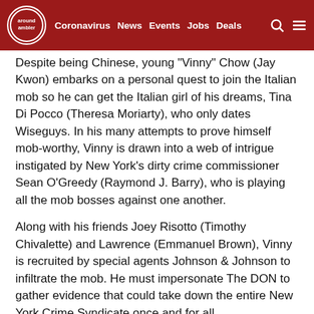around ambler | Coronavirus | News | Events | Jobs | Deals
Despite being Chinese, young "Vinny" Chow (Jay Kwon) embarks on a personal quest to join the Italian mob so he can get the Italian girl of his dreams, Tina Di Pocco (Theresa Moriarty), who only dates Wiseguys. In his many attempts to prove himself mob-worthy, Vinny is drawn into a web of intrigue instigated by New York's dirty crime commissioner Sean O'Greedy (Raymond J. Barry), who is playing all the mob bosses against one another.
Along with his friends Joey Risotto (Timothy Chivalette) and Lawrence (Emmanuel Brown), Vinny is recruited by special agents Johnson & Johnson to infiltrate the mob. He must impersonate The DON to gather evidence that could take down the entire New York Crime Syndicate once and for all.